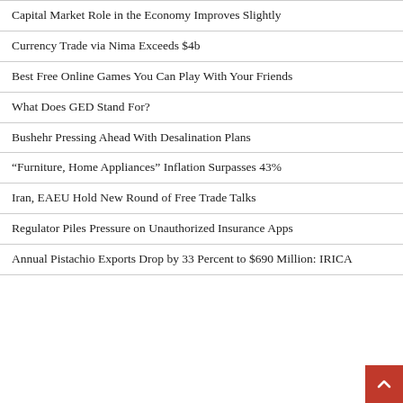Capital Market Role in the Economy Improves Slightly
Currency Trade via Nima Exceeds $4b
Best Free Online Games You Can Play With Your Friends
What Does GED Stand For?
Bushehr Pressing Ahead With Desalination Plans
“Furniture, Home Appliances” Inflation Surpasses 43%
Iran, EAEU Hold New Round of Free Trade Talks
Regulator Piles Pressure on Unauthorized Insurance Apps
Annual Pistachio Exports Drop by 33 Percent to $690 Million: IRICA